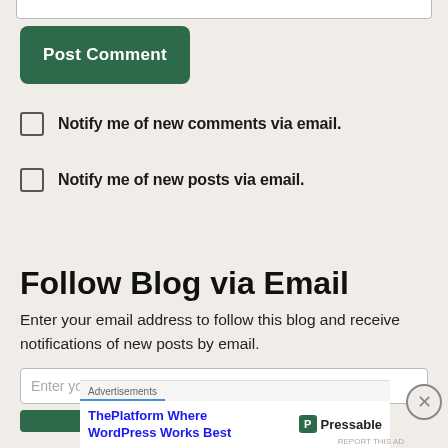[Figure (screenshot): Top edge of a text input field (comment box), partially visible at top of page]
Post Comment
Notify me of new comments via email.
Notify me of new posts via email.
Follow Blog via Email
Enter your email address to follow this blog and receive notifications of new posts by email.
Enter your email address
[Figure (screenshot): Green follow/subscribe button, partially visible]
Advertisements
ThePlatform Where WordPress Works Best — Pressable advertisement